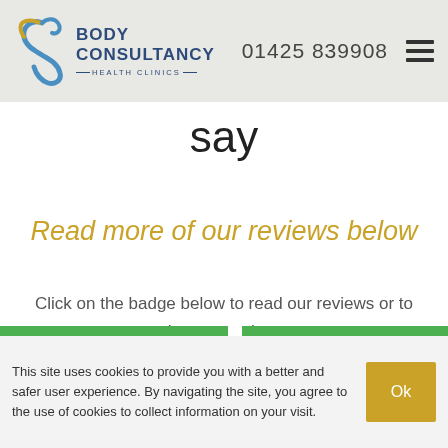Body Consultancy Health Clinics | 01425 839908
say
Read more of our reviews below
Click on the badge below to read our reviews or to leave a review.
This site uses cookies to provide you with a better and safer user experience. By navigating the site, you agree to the use of cookies to collect information on your visit.